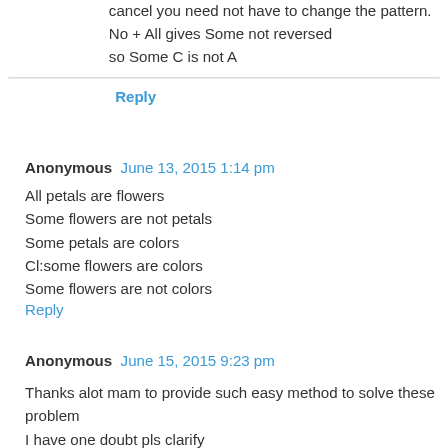cancel you need not have to change the pattern.
No + All gives Some not reversed
so Some C is not A
Reply
Anonymous  June 13, 2015 1:14 pm
All petals are flowers
Some flowers are not petals
Some petals are colors
Cl:some flowers are colors
Some flowers are not colors
Reply
Anonymous  June 15, 2015 9:23 pm
Thanks alot mam to provide such easy method to solve these problem
I have one doubt pls clarify